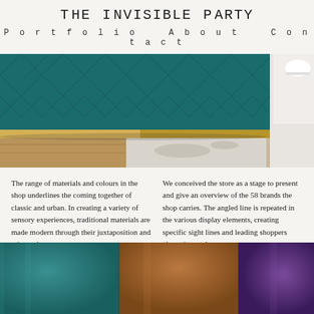The Invisible Party
Portfolio   About   Contact
[Figure (photo): Close-up of a teal quilted velvet bench/ottoman with a gold/brass metal base, sitting on a wooden floor with a grey marble-look rug. A white sneaker is visible in the top right corner against a white surface.]
The range of materials and colours in the shop underlines the coming together of classic and urban. In creating a variety of sensory experiences, traditional materials are made modern through their juxtaposition and reinvention.
We conceived the store as a stage to present and give an overview of the 58 brands the shop carries. The angled line is repeated in the various display elements, creating specific sight lines and leading shoppers along the products.
[Figure (photo): Close-up of three velvet fabric samples/poufs side by side: teal/dark cyan on the left, warm brown/cognac in the middle, and deep purple on the right. Soft lighting highlights the velvet texture.]